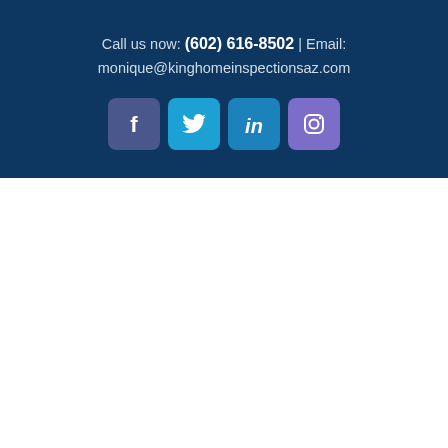Call us now: (602) 616-8502 | Email: monique@kinghomeinspectionsaz.com
[Figure (infographic): Four social media icon buttons: Facebook, Twitter, LinkedIn, Instagram]